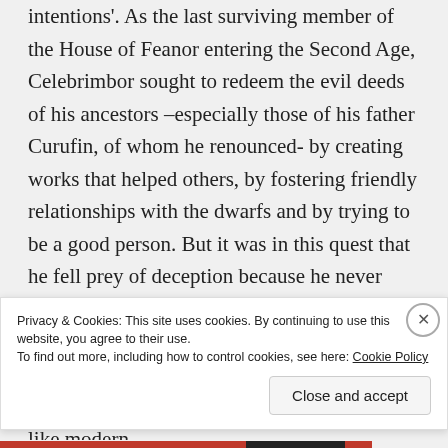intentions'. As the last surviving member of the House of Feanor entering the Second Age, Celebrimbor sought to redeem the evil deeds of his ancestors –especially those of his father Curufin, of whom he renounced- by creating works that helped others, by fostering friendly relationships with the dwarfs and by trying to be a good person. But it was in this quest that he fell prey of deception because he never stopped to consider one of the fatal flaws of his kin: it is not a question of whether you can do something, it's a question of whether it is a good idea to do so. In a way, Celebrimbor is like modern
Privacy & Cookies: This site uses cookies. By continuing to use this website, you agree to their use.
To find out more, including how to control cookies, see here: Cookie Policy
Close and accept